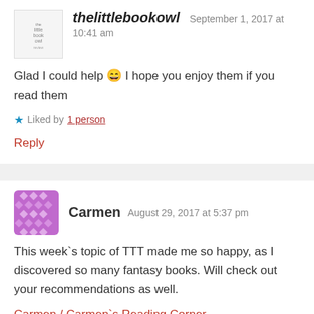thelittlebookowl — September 1, 2017 at 10:41 am
Glad I could help 😄 I hope you enjoy them if you read them
★ Liked by 1 person
Reply
Carmen — August 29, 2017 at 5:37 pm
This week`s topic of TTT made me so happy, as I discovered so many fantasy books. Will check out your recommendations as well.
Carmen / Carmen`s Reading Corner